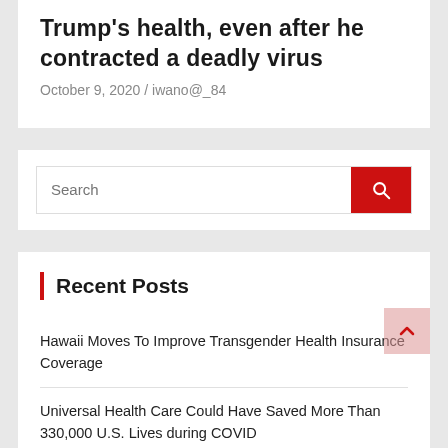Trump's health, even after he contracted a deadly virus
October 9, 2020 / iwano@_84
[Figure (other): Search bar with red search button and magnifying glass icon]
Recent Posts
Hawaii Moves To Improve Transgender Health Insurance Coverage
Universal Health Care Could Have Saved More Than 330,000 U.S. Lives during COVID
AWS Launches Healthcare Accelerator Focused on Health